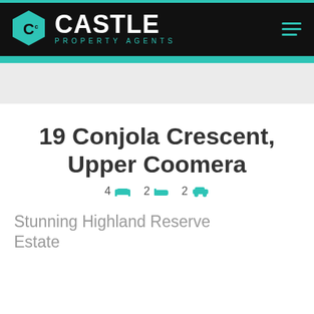Castle Property Agents
19 Conjola Crescent, Upper Coomera
4 beds  2 baths  2 cars
Stunning Highland Reserve Estate